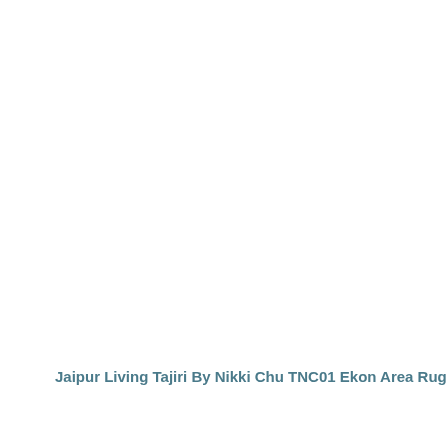Jaipur Living Tajiri By Nikki Chu TNC01 Ekon Area Rug